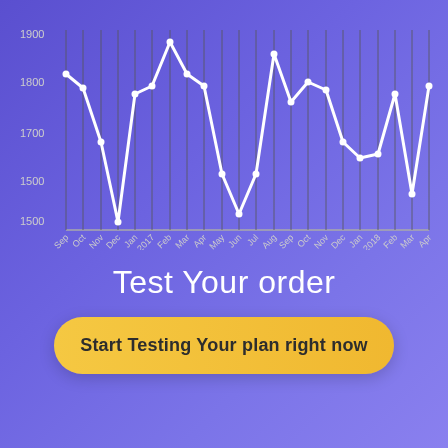[Figure (line-chart): ]
Test Your order
Start Testing Your plan right now